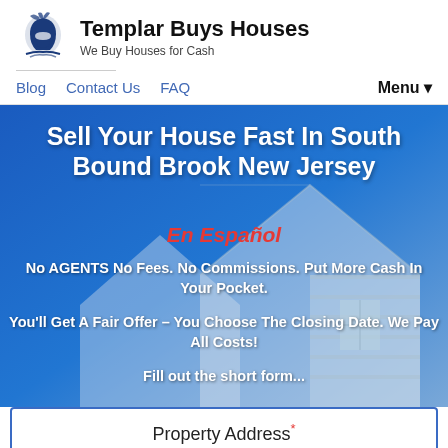[Figure (logo): Templar Buys Houses logo — knight helmet in blue with text 'Templar Buys Houses' and tagline 'We Buy Houses for Cash']
Blog  Contact Us  FAQ  Menu ▾
Sell Your House Fast In South Bound Brook New Jersey
En Español
No AGENTS No Fees. No Commissions. Put More Cash In Your Pocket.
You'll Get A Fair Offer – You Choose The Closing Date. We Pay All Costs!
Fill out the short form...
Property Address*